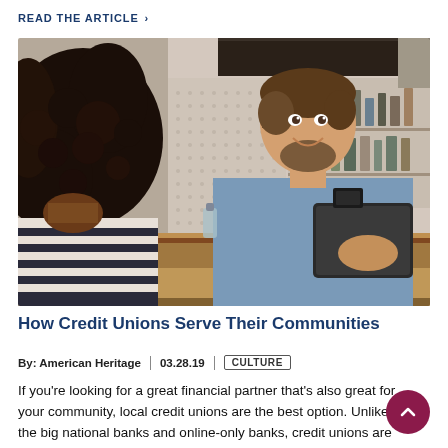READ THE ARTICLE >
[Figure (photo): A smiling bearded man in a denim shirt holds a credit card reader and tablet, facing a woman with curly hair across a wooden counter in a cafe setting.]
How Credit Unions Serve Their Communities
By: American Heritage | 03.28.19 | CULTURE
If you're looking for a great financial partner that's also great for your community, local credit unions are the best option. Unlike the big national banks and online-only banks, credit unions are member-